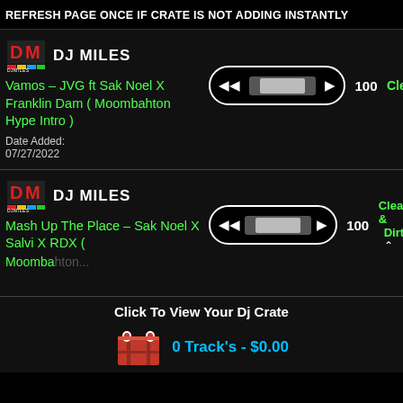REFRESH PAGE ONCE IF CRATE IS NOT ADDING INSTANTLY
[Figure (screenshot): DJ Miles track listing entry 1: Vamos - JVG ft Sak Noel X Franklin Dam (Moombahton Hype Intro), BPM 100, Clean, Date Added 07/27/2022]
[Figure (screenshot): DJ Miles track listing entry 2: Mash Up The Place - Sak Noel X Salvi X RDX (Moombahton...), BPM 100, Clean & Dirty]
Click To View Your Dj Crate
0 Track's - $0.00